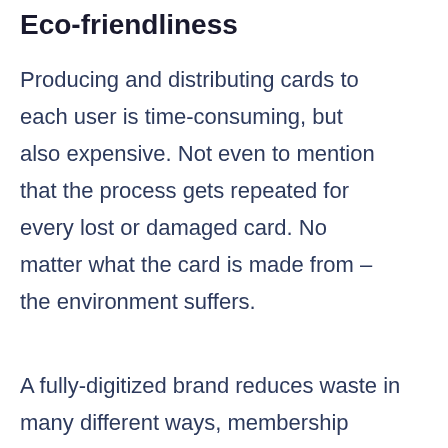Eco-friendliness
Producing and distributing cards to each user is time-consuming, but also expensive. Not even to mention that the process gets repeated for every lost or damaged card. No matter what the card is made from – the environment suffers.
A fully-digitized brand reduces waste in many different ways, membership